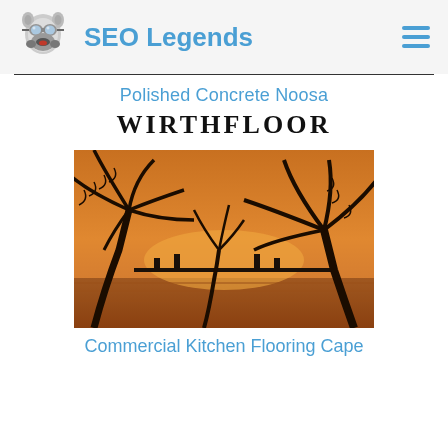SEO Legends
Polished Concrete Noosa
WIRTHFLOOR
[Figure (photo): Tropical palm tree silhouettes against a warm orange sunset sky with water and a bridge visible in the background.]
Commercial Kitchen Flooring Cape